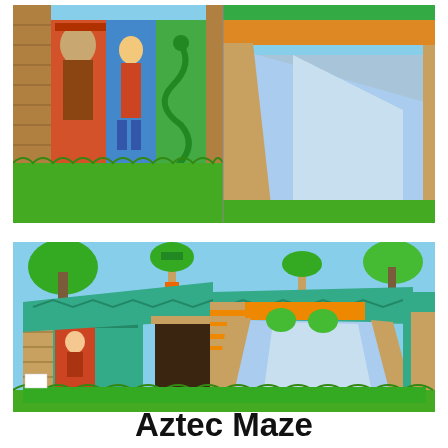[Figure (photo): Two side-by-side close-up photos of an Aztec-themed inflatable bouncy castle maze. Left photo shows the front facade with colorful cartoon character panels (Aztec deity, boy, snake) on sandy-tan stone-effect pillars with green grass base. Right photo shows a light blue inflatable slide section of the same unit.]
[Figure (photo): Full exterior view of the Aztec Maze inflatable bouncy castle set on a grass lawn. The large inflatable features teal/green and tan Aztec temple styling with cartoon character artwork, palm tree toppers, a central dark entrance doorway, and a wide light blue slide in the center foreground. Green grass base surround.]
Aztec Maze